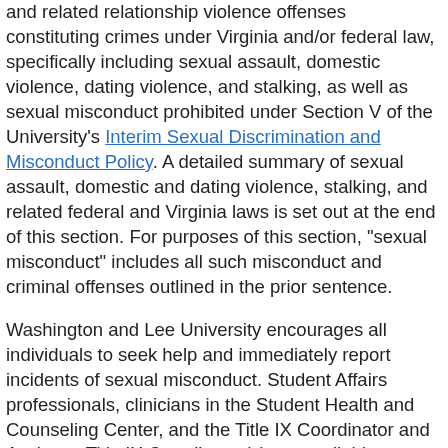and related relationship violence offenses constituting crimes under Virginia and/or federal law, specifically including sexual assault, domestic violence, dating violence, and stalking, as well as sexual misconduct prohibited under Section V of the University's Interim Sexual Discrimination and Misconduct Policy. A detailed summary of sexual assault, domestic and dating violence, stalking, and related federal and Virginia laws is set out at the end of this section. For purposes of this section, "sexual misconduct" includes all such misconduct and criminal offenses outlined in the prior sentence.
Washington and Lee University encourages all individuals to seek help and immediately report incidents of sexual misconduct. Student Affairs professionals, clinicians in the Student Health and Counseling Center, and the Title IX Coordinator and Assistant Title IX Coordinator(s) are available as resources for support and to understand policies and procedures related to complaints of sexual misconduct. Designated university investigators, as well as the Sexual Assault Investigator of the Rockbridge County Sheriff's Office